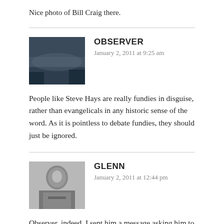Nice photo of Bill Craig there.
OBSERVER
January 2, 2011 at 9:25 am
People like Steve Hays are really fundies in disguise, rather than evangelicals in any historic sense of the word. As it is pointless to debate fundies, they should just be ignored.
GLENN
January 2, 2011 at 12:44 pm
Observer, indeed. I sent him a message asking him to get in touch with me about this. He responded by pretending to be the model Fabio (!!!) followed up by